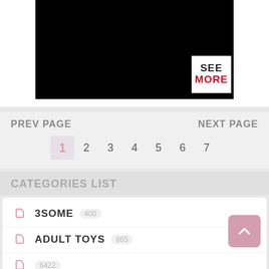[Figure (screenshot): Black image thumbnail with a white 'SEE MORE' button overlay in the bottom right corner]
PREV PAGE
NEXT PAGE
1
2
3
4
5
6
7
CATEGORIES LIST
3SOME 400
ADULT TOYS 865
6422